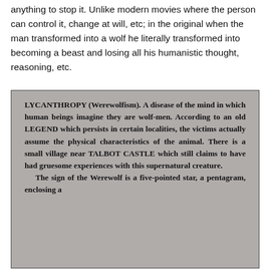anything to stop it. Unlike modern movies where the person can control it, change at will, etc; in the original when the man transformed into a wolf he literally transformed into becoming a beast and losing all his humanistic thought, reasoning, etc.
[Figure (photo): A scanned dictionary or encyclopedia entry for LYCANTHROPY (Werewolfism) on a gray/aged background in bold serif font. The entry reads: 'LYCANTHROPY (Werewolfism). A disease of the mind in which human beings imagine they are wolf-men. According to an old LEGEND which persists in certain localities, the victims actually assume the physical characteristics of the animal. There is a small village near TALBOT CASTLE which still claims to have had gruesome experiences with this supernatural creature. The sign of the Werewolf is a five-pointed star, a pentagram, enclosing a']